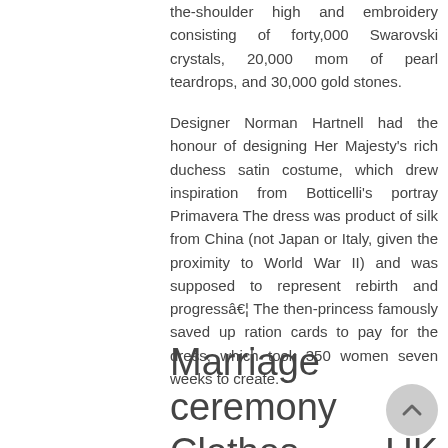the-shoulder high and embroidery consisting of forty,000 Swarovski crystals, 20,000 mom of pearl teardrops, and 30,000 gold stones.

Designer Norman Hartnell had the honour of designing Her Majesty's rich duchess satin costume, which drew inspiration from Botticelli's portray Primavera The dress was product of silk from China (not Japan or Italy, given the proximity to World War II) and was supposed to represent rebirth and progressâ€¦ The then-princess famously saved up ration cards to pay for the dress, which took 350 women seven weeks to create.
Marriage ceremony Clothes UK Sale, Purchase Low cost